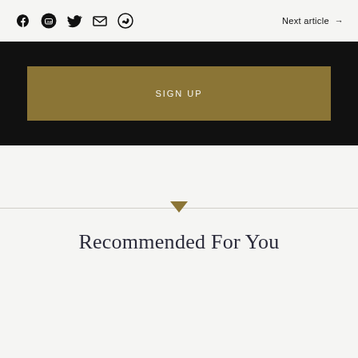Social share icons: Facebook, LINE, Twitter, Email, WhatsApp | Next article →
SIGN UP
Recommended For You